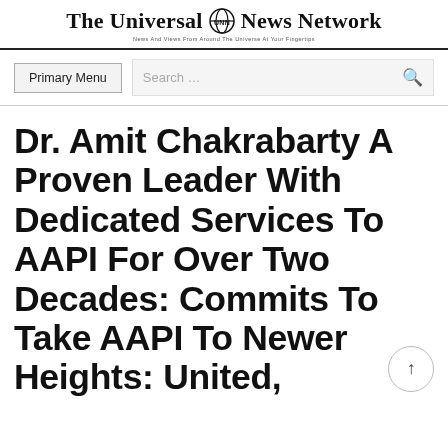The Universal News Network — News And Views From Around The Universe At Your Fingertips
Primary Menu | Search ...
Dr. Amit Chakrabarty A Proven Leader With Dedicated Services To AAPI For Over Two Decades: Commits To Take AAPI To Newer Heights: United,